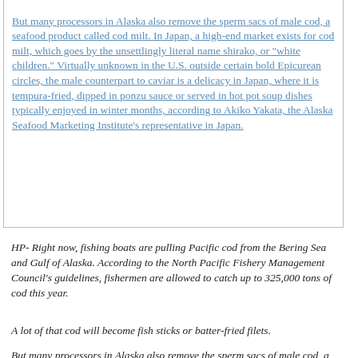But many processors in Alaska also remove the sperm sacs of male cod, a seafood product called cod milt. In Japan, a high-end market exists for cod milt, which goes by the unsettlingly literal name shirako, or "white children." Virtually unknown in the U.S. outside certain bold Epicurean circles, the male counterpart to caviar is a delicacy in Japan, where it is tempura-fried, dipped in ponzu sauce or served in hot pot soup dishes typically enjoyed in winter months, according to Akiko Yakata, the Alaska Seafood Marketing Institute's representative in Japan.
HP- Right now, fishing boats are pulling Pacific cod from the Bering Sea and Gulf of Alaska. According to the North Pacific Fishery Management Council's guidelines, fishermen are allowed to catch up to 325,000 tons of cod this year.
A lot of that cod will become fish sticks or batter-fried filets.
But many processors in Alaska also remove the sperm sacs of male cod, a seafood product called cod milt. In Japan, a high-end market exists for cod milt, which goes by the unsettlingly literal name shirako, or "white children."